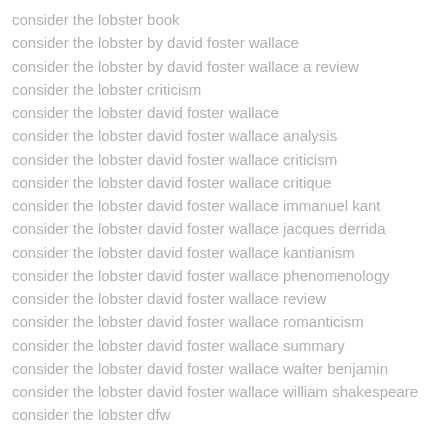consider the lobster book
consider the lobster by david foster wallace
consider the lobster by david foster wallace a review
consider the lobster criticism
consider the lobster david foster wallace
consider the lobster david foster wallace analysis
consider the lobster david foster wallace criticism
consider the lobster david foster wallace critique
consider the lobster david foster wallace immanuel kant
consider the lobster david foster wallace jacques derrida
consider the lobster david foster wallace kantianism
consider the lobster david foster wallace phenomenology
consider the lobster david foster wallace review
consider the lobster david foster wallace romanticism
consider the lobster david foster wallace summary
consider the lobster david foster wallace walter benjamin
consider the lobster david foster wallace william shakespeare
consider the lobster dfw